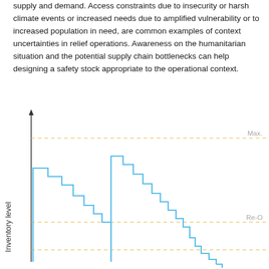supply and demand. Access constraints due to insecurity or harsh climate events or increased needs due to amplified vulnerability or to increased population in need, are common examples of context uncertainties in relief operations. Awareness on the humanitarian situation and the potential supply chain bottlenecks can help designing a safety stock appropriate to the operational context.
[Figure (continuous-plot): Inventory level over time diagram showing a stepped sawtooth pattern in blue. The inventory drops in steps from a peak level, then jumps back up upon replenishment. Two horizontal dashed orange lines indicate 'Max.' (maximum inventory level) and 'Re-O' (re-order point) thresholds. The y-axis is labeled 'Inventory level'. The pattern repeats approximately twice across the visible chart area.]